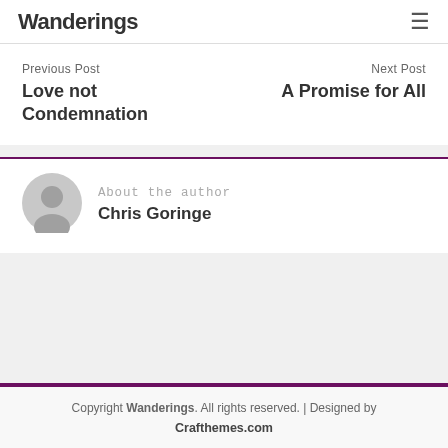Wanderings
Previous Post
Love not Condemnation
Next Post
A Promise for All
About the author
Chris Goringe
Copyright Wanderings. All rights reserved. | Designed by Crafthemes.com